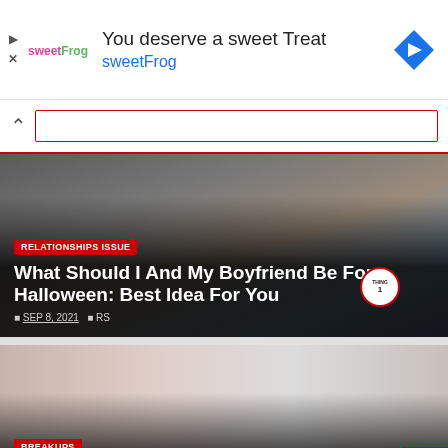[Figure (infographic): Advertisement banner for sweetFrog frozen yogurt. Shows sweetFrog logo, text 'You deserve a sweet Treat' and 'sweetFrog', with a blue navigation arrow diamond icon on the right.]
[Figure (photo): Halloween couple costume photo showing a man in a white hat and a person with blue hair wearing a 'Thing 1' red shirt costume.]
RELATIONSHIPS ISSUE
What Should I And My Boyfriend Be For Halloween: Best Idea For You
SEP 8, 2021  RS
[Figure (photo): Breakups article photo showing a man with head down and a woman looking away in the background, pinkish/light background.]
BREAKUPS
The Best 5 Reasons Why Do